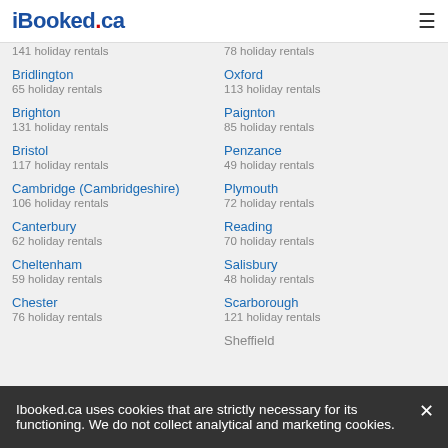iBooked.ca
141 holiday rentals
78 holiday rentals
Bridlington
65 holiday rentals
Oxford
113 holiday rentals
Brighton
131 holiday rentals
Paignton
85 holiday rentals
Bristol
117 holiday rentals
Penzance
49 holiday rentals
Cambridge (Cambridgeshire)
106 holiday rentals
Plymouth
72 holiday rentals
Canterbury
62 holiday rentals
Reading
70 holiday rentals
Cheltenham
59 holiday rentals
Salisbury
48 holiday rentals
Chester
76 holiday rentals
Scarborough
121 holiday rentals
Sheffield
(holiday rentals)
Ibooked.ca uses cookies that are strictly necessary for its functioning. We do not collect analytical and marketing cookies.